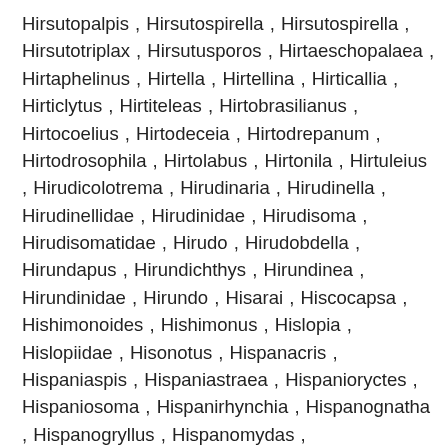Hirsutopalpis , Hirsutospirella , Hirsutospirella , Hirsutotriplax , Hirsutusporos , Hirtaeschopalaea , Hirtaphelinus , Hirtella , Hirtellina , Hirticallia , Hirticlytus , Hirtiteleas , Hirtobrasilianus , Hirtocoelius , Hirtodeceia , Hirtodrepanum , Hirtodrosophila , Hirtolabus , Hirtonila , Hirtuleius , Hirudicolotrema , Hirudinaria , Hirudinella , Hirudinellidae , Hirudinidae , Hirudisoma , Hirudisomatidae , Hirudo , Hirudobdella , Hirundapus , Hirundichthys , Hirundinea , Hirundinidae , Hirundo , Hisarai , Hiscocapsa , Hishimonoides , Hishimonus , Hislopia , Hislopiidae , Hisonotus , Hispanacris , Hispaniaspis , Hispaniastraea , Hispanioryctes , Hispaniosoma , Hispanirhynchia , Hispanognatha , Hispanogryllus , Hispanomydas , Hispanoraphidia , Hispanotettix , Hispastathes , Hispibaris , Hispidella , Hispidicarpomyces , Hispidicarpomycetaceae , Hispidoberycidae , Hispidoberyx , Hispidocalyptella , Hispidoconidioma , Hispidolambrus , Hispidopetra ,